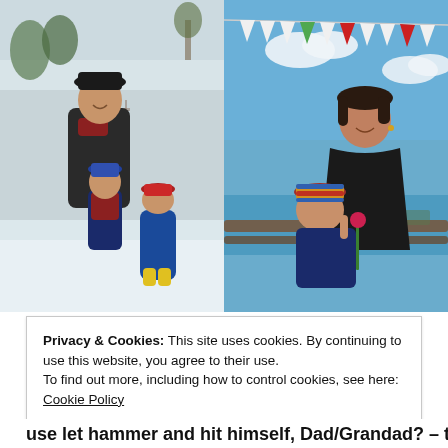[Figure (photo): Two side-by-side photographs. Left: a woman with a black hat and dark coat standing in snow with two young children, one in blue snowsuit and one in red vest. Right: a woman in black top sitting outdoors near water with a young child wearing a striped hat, colorful bunting flags visible above.]
Privacy & Cookies: This site uses cookies. By continuing to use this website, you agree to their use.
To find out more, including how to control cookies, see here: Cookie Policy
Close and accept
use let hammer and hit himself, Dad/Grandad? – to